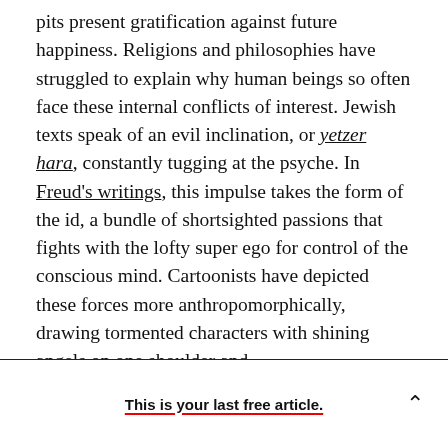pits present gratification against future happiness. Religions and philosophies have struggled to explain why human beings so often face these internal conflicts of interest. Jewish texts speak of an evil inclination, or yetzer hara, constantly tugging at the psyche. In Freud's writings, this impulse takes the form of the id, a bundle of shortsighted passions that fights with the lofty super ego for control of the conscious mind. Cartoonists have depicted these forces more anthropomorphically, drawing tormented characters with shining angels on one shoulder and
This is your last free article.